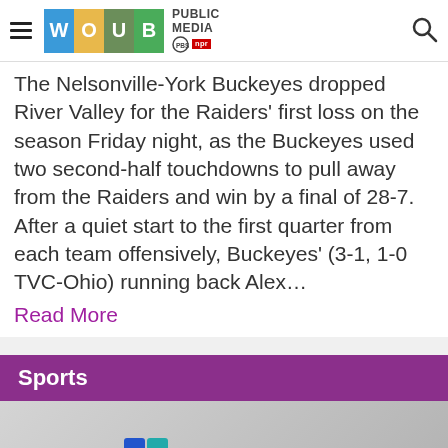WOUB PUBLIC MEDIA PBS NPR
The Nelsonville-York Buckeyes dropped River Valley for the Raiders' first loss on the season Friday night, as the Buckeyes used two second-half touchdowns to pull away from the Raiders and win by a final of 28-7. After a quiet start to the first quarter from each team offensively, Buckeyes' (3-1, 1-0 TVC-Ohio) running back Alex…
Read More
Sports
[Figure (logo): WOUB Digital logo with colored grid icon]